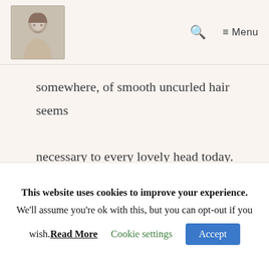[Logo image] Q ≡ Menu
somewhere, of smooth uncurled hair seems necessary to every lovely head today.
1930s Make-up Studio Tricks
[Figure (photo): Vintage black and white circular photo showing the top of a woman's head with smoothed hair, 1930s style.]
This website uses cookies to improve your experience. We'll assume you're ok with this, but you can opt-out if you wish. Read More Cookie settings Accept